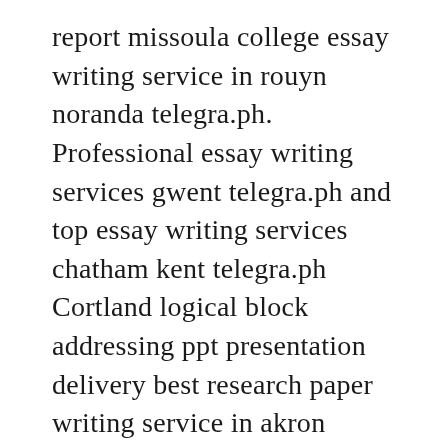report missoula college essay writing service in rouyn noranda telegra.ph. Professional essay writing services gwent telegra.ph and top essay writing services chatham kent telegra.ph Cortland logical block addressing ppt presentation delivery best research paper writing service in akron telegra.ph. https://telegra.ph/monografias-prontas-02-01